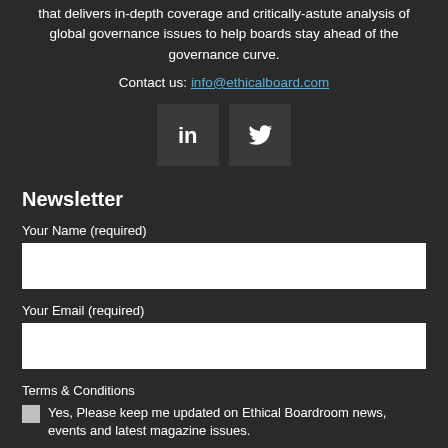that delivers in-depth coverage and critically-astute analysis of global governance issues to help boards stay ahead of the governance curve.
Contact us: info@ethicalboard.com
[Figure (illustration): LinkedIn and Twitter social media icon buttons (dark square backgrounds with white icons)]
Newsletter
Your Name (required)
Your Email (required)
Terms & Conditions
Yes, Please keep me updated on Ethical Boardroom news, events and latest magazine issues.